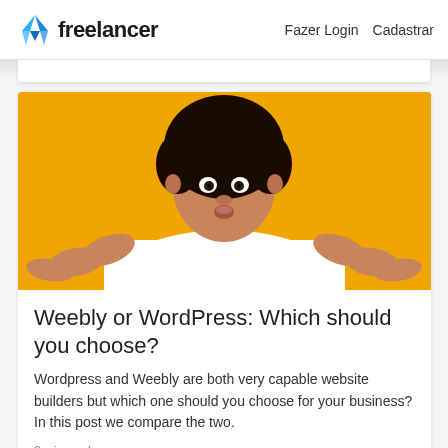freelancer  Fazer Login  Cadastrar
[Figure (photo): Young Black woman with curly hair wearing a white t-shirt, shrugging her shoulders with palms up, puzzled expression, against a bright yellow/orange background]
Weebly or WordPress: Which should you choose?
Wordpress and Weebly are both very capable website builders but which one should you choose for your business? In this post we compare the two.
8 min read